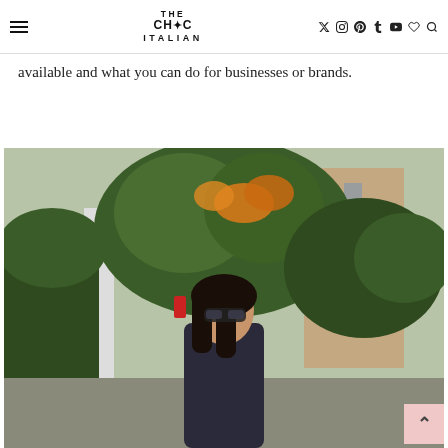THE CHIC ITALIAN — navigation header with social icons
available and what you can do for businesses or brands.
[Figure (photo): Fashion blogger with dark hair and sunglasses wearing a dark blazer, standing on a street with lush green and flowering shrubs/trees in the background, classic European residential architecture visible.]